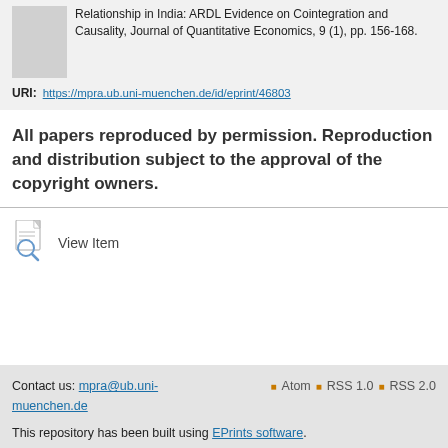Relationship in India: ARDL Evidence on Cointegration and Causality, Journal of Quantitative Economics, 9 (1), pp. 156-168.
URI: https://mpra.ub.uni-muenchen.de/id/eprint/46803
All papers reproduced by permission. Reproduction and distribution subject to the approval of the copyright owners.
[Figure (other): View Item icon - document with magnifying glass]
View Item
Contact us: mpra@ub.uni-muenchen.de  Atom  RSS 1.0  RSS 2.0  This repository has been built using EPrints software.